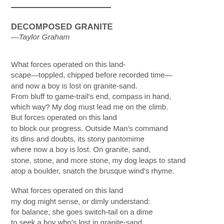——————————————
DECOMPOSED GRANITE
—Taylor Graham
What forces operated on this land-
scape—toppled, chipped before recorded time—
and now a boy is lost on granite-sand.
From bluff to game-trail's end, compass in hand,
which way? My dog must lead me on the climb.
But forces operated on this land
to block our progress. Outside Man's command
its dins and doubts, its stony pantomime
where now a boy is lost. On granite, sand,
stone, stone, and more stone, my dog leaps to stand
atop a boulder, snatch the brusque wind's rhyme.

What forces operated on this land
my dog might sense, or dimly understand:
for balance, she goes switch-tail on a dime
to seek a boy who's lost in granite-sand.
She'll tack and shift, regain her course, her stride